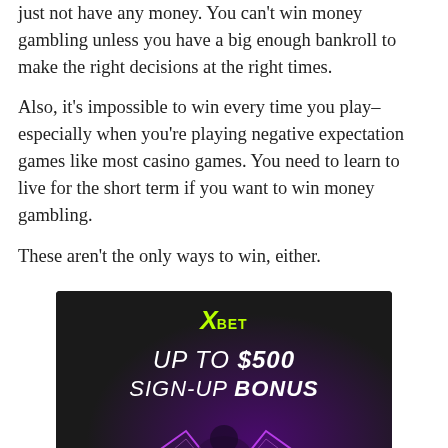just not have any money. You can't win money gambling unless you have a big enough bankroll to make the right decisions at the right times.
Also, it's impossible to win every time you play–especially when you're playing negative expectation games like most casino games. You need to learn to live for the short term if you want to win money gambling.
These aren't the only ways to win, either.
[Figure (other): XBet advertisement banner with dark background and purple glow. Logo shows 'X BET' in green/yellow. Text reads 'UP TO $500 SIGN-UP BONUS'. Person shown at bottom with purple neon triangles.]